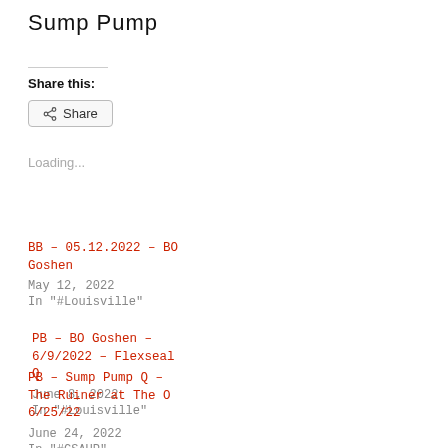Sump Pump
Share this:
Share
Loading...
BB – 05.12.2022 – BO Goshen
May 12, 2022
In "#Louisville"
PB – BO Goshen – 6/9/2022 – Flexseal Q
June 8, 2022
In "#Louisville"
PB – Sump Pump Q – The Ruiner at The O 6/25/22
June 24, 2022
In "#CSAUP"